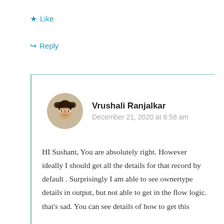★ Like
↪ Reply
Vrushali Ranjalkar
December 21, 2020 at 6:58 am
HI Sushant, You are absolutely right. However ideally I should get all the details for that record by default . Surprisingly I am able to see ownertype details in output, but not able to get in the flow logic. that's sad. You can see details of how to get this